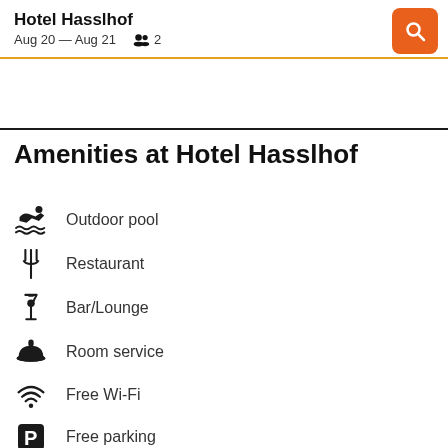Hotel Hasslhof
Aug 20 — Aug 21   👥 2
Amenities at Hotel Hasslhof
Outdoor pool
Restaurant
Bar/Lounge
Room service
Free Wi-Fi
Free parking